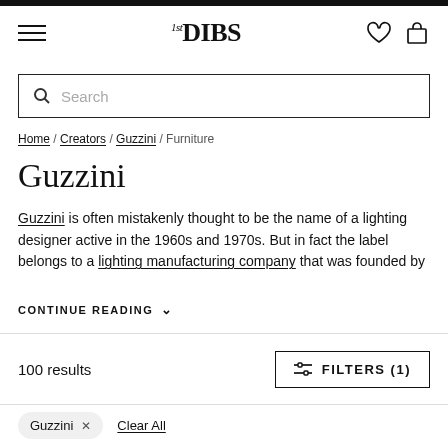1stDIBS
Search
Home / Creators / Guzzini / Furniture
Guzzini
Guzzini is often mistakenly thought to be the name of a lighting designer active in the 1960s and 1970s. But in fact the label belongs to a lighting manufacturing company that was founded by
CONTINUE READING
100 results
FILTERS (1)
Guzzini  Clear All